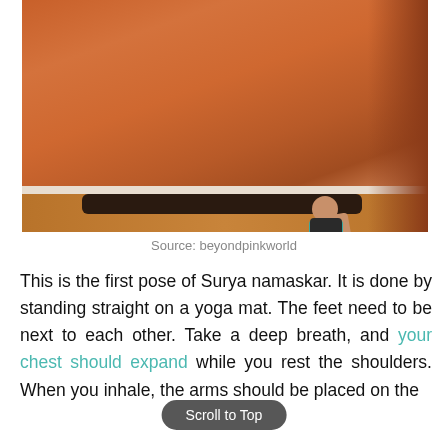[Figure (photo): A woman standing upright on a dark yoga mat in a prayer/namaste arm position, wearing a teal top and black pants, photographed from the side against an orange-warmly-lit wall. The floor is wooden.]
Source: beyondpinkworld
This is the first pose of Surya namaskar. It is done by standing straight on a yoga mat. The feet need to be next to each other. Take a deep breath, and your chest should expand while you rest the shoulders. When you inhale, the arms should be placed on the sides, and on exhaling, join the palms close to...